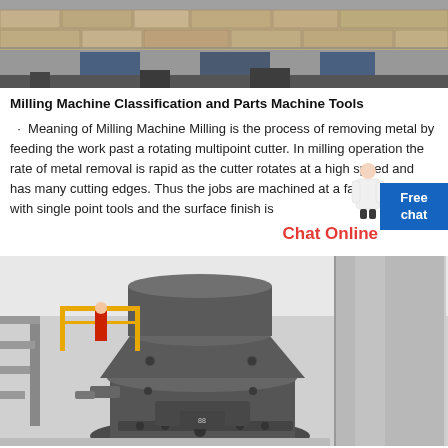[Figure (photo): Industrial building exterior with stone/concrete walls and machinery visible from above]
Milling Machine Classification and Parts Machine Tools
Meaning of Milling Machine Milling is the process of removing metal by feeding the work past a rotating multipoint cutter. In milling operation the rate of metal removal is rapid as the cutter rotates at a high speed and has many cutting edges. Thus the jobs are machined at a faster rate than with single point tools and the surface finish is
[Figure (photo): Large industrial milling machine with dark cylindrical body, access stairs and metal ducting in a factory/industrial setting]